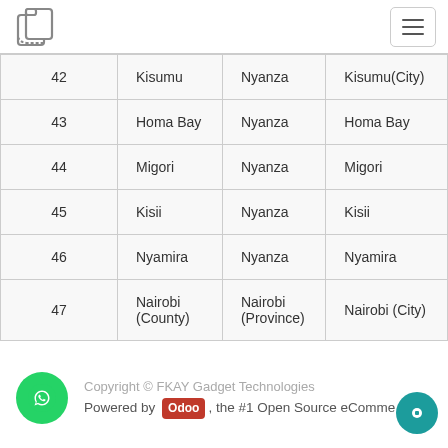FKAY Gadget Technologies — navigation header
| 42 | Kisumu | Nyanza | Kisumu(City) |
| 43 | Homa Bay | Nyanza | Homa Bay |
| 44 | Migori | Nyanza | Migori |
| 45 | Kisii | Nyanza | Kisii |
| 46 | Nyamira | Nyanza | Nyamira |
| 47 | Nairobi (County) | Nairobi (Province) | Nairobi (City) |
Copyright © FKAY Gadget Technologies
Powered by Odoo, the #1 Open Source eCommerce